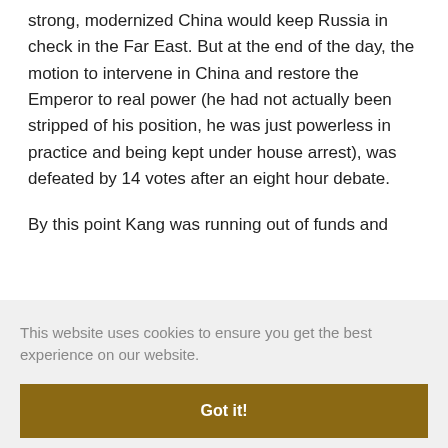strong, modernized China would keep Russia in check in the Far East. But at the end of the day, the motion to intervene in China and restore the Emperor to real power (he had not actually been stripped of his position, he was just powerless in practice and being kept under house arrest), was defeated by 14 votes after an eight hour debate.
By this point Kang was running out of funds and
In 1949, not long before the founding of the